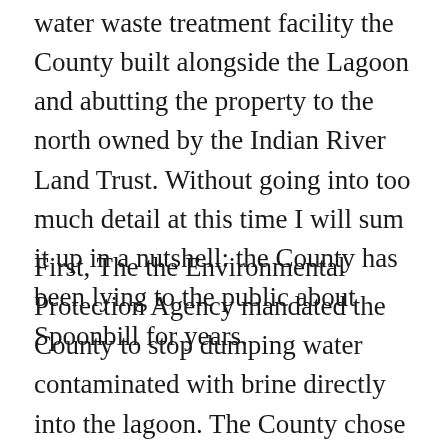water waste treatment facility the County built alongside the Lagoon and abutting the property to the north owned by the Indian River Land Trust. Without going into too much detail at this time I will sum it up in a nutshell: the County has been lying to the public about Spoonbill for years.
First, The the Environmental Protection Agency mandated the County to stop dumping water contaminated with brine directly into the lagoon. The County chose to build this facility over the objections at the time of leading environmentalists and engineers. Why? you